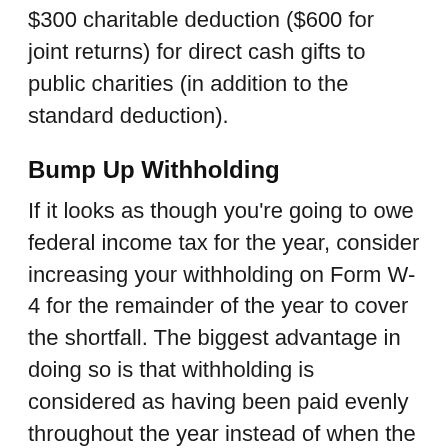$300 charitable deduction ($600 for joint returns) for direct cash gifts to public charities (in addition to the standard deduction).
Bump Up Withholding
If it looks as though you're going to owe federal income tax for the year, consider increasing your withholding on Form W-4 for the remainder of the year to cover the shortfall. The biggest advantage in doing so is that withholding is considered as having been paid evenly throughout the year instead of when the dollars are actually taken from your paycheck.